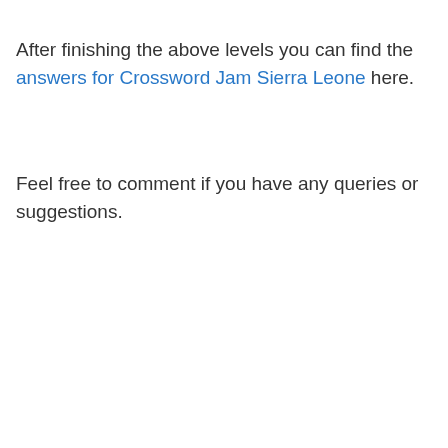After finishing the above levels you can find the answers for Crossword Jam Sierra Leone here.
Feel free to comment if you have any queries or suggestions.